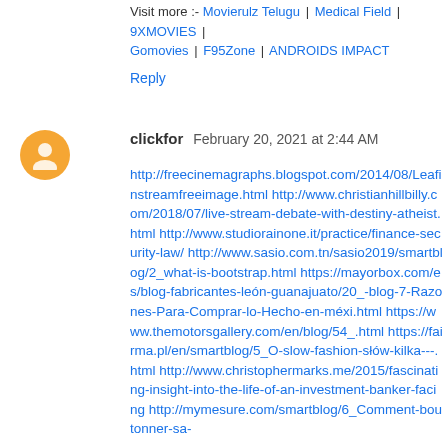Visit more :- Movierulz Telugu | Medical Field | 9XMOVIES | Gomovies | F95Zone | ANDROIDS IMPACT
Reply
clickfor  February 20, 2021 at 2:44 AM
http://freecinemagraphs.blogspot.com/2014/08/Leafinstreamfreeimage.html http://www.christianhillbilly.com/2018/07/live-stream-debate-with-destiny-atheist.html http://www.studiorainone.it/practice/finance-security-law/ http://www.sasio.com.tn/sasio2019/smartblog/2_what-is-bootstrap.html https://mayorbox.com/es/blog-fabricantes-león-guanajuato/20_-blog-7-Razones-Para-Comprar-lo-Hecho-en-méxi.html https://www.themotorsgallery.com/en/blog/54_.html https://fairma.pl/en/smartblog/5_O-slow-fashion-słów-kilka---.html http://www.christophermarks.me/2015/fascinating-insight-into-the-life-of-an-investment-banker-facing http://mymesure.com/smartblog/6_Comment-boutonner-sa-